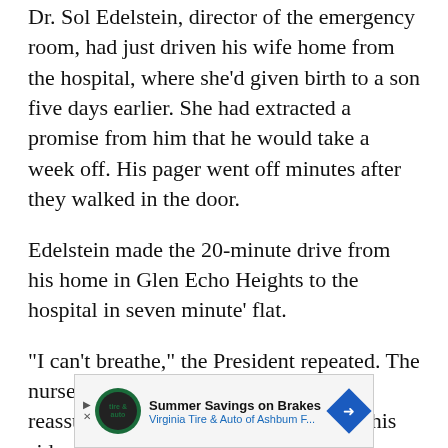Dr. Sol Edelstein, director of the emergency room, had just driven his wife home from the hospital, where she’d given birth to a son five days earlier. She had extracted a promise from him that he would take a week off. His pager went off minutes after they walked in the door.
Edelstein made the 20-minute drive from his home in Glen Echo Heights to the hospital in seven minute’ flat.
“I can’t breathe,” the President repeated. The nurses took turns holding his hand and reassured him. He lay with his arms at his sides,
[Figure (other): Advertisement banner: Summer Savings on Brakes, Virginia Tire & Auto of Ashbum F... with Tire & Auto logo and navigation arrows]